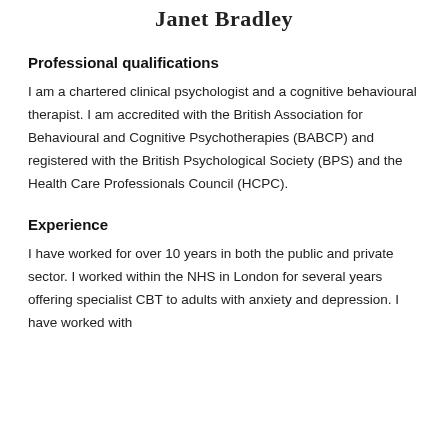Janet Bradley
Professional qualifications
I am a chartered clinical psychologist and a cognitive behavioural therapist. I am accredited with the British Association for Behavioural and Cognitive Psychotherapies (BABCP) and registered with the British Psychological Society (BPS) and the Health Care Professionals Council (HCPC).
Experience
I have worked for over 10 years in both the public and private sector. I worked within the NHS in London for several years offering specialist CBT to adults with anxiety and depression. I have worked with